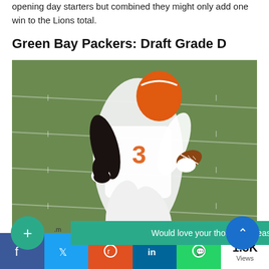opening day starters but combined they might only add one win to the Lions total.
Green Bay Packers: Draft Grade D
[Figure (photo): A football player wearing a white and orange uniform with number 3, running with a football on a green field.]
Would love your thoughts, please comment.
1.8K Views